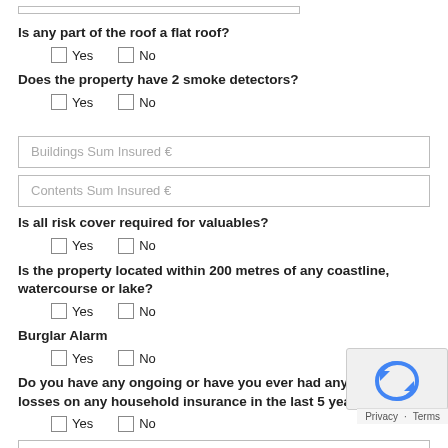Is any part of the roof a flat roof?
Yes / No checkboxes
Does the property have 2 smoke detectors?
Yes / No checkboxes
Buildings Sum Insured €
Contents Sum Insured €
Is all risk cover required for valuables?
Yes / No checkboxes
Is the property located within 200 metres of any coastline, watercourse or lake?
Yes / No checkboxes
Burglar Alarm
Yes / No checkboxes
Do you have any ongoing or have you ever had any claims or losses on any household insurance in the last 5 years?
Yes / No checkboxes
Current insurance renewal date
Current insurer